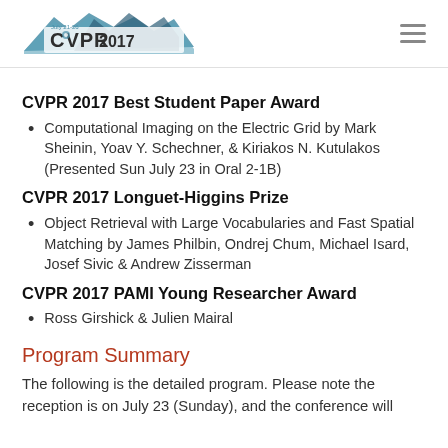CVPR 2017 logo and navigation
CVPR 2017 Best Student Paper Award
Computational Imaging on the Electric Grid by Mark Sheinin, Yoav Y. Schechner, & Kiriakos N. Kutulakos (Presented Sun July 23 in Oral 2-1B)
CVPR 2017 Longuet-Higgins Prize
Object Retrieval with Large Vocabularies and Fast Spatial Matching by James Philbin, Ondrej Chum, Michael Isard, Josef Sivic & Andrew Zisserman
CVPR 2017 PAMI Young Researcher Award
Ross Girshick & Julien Mairal
Program Summary
The following is the detailed program. Please note the reception is on July 23 (Sunday), and the conference will